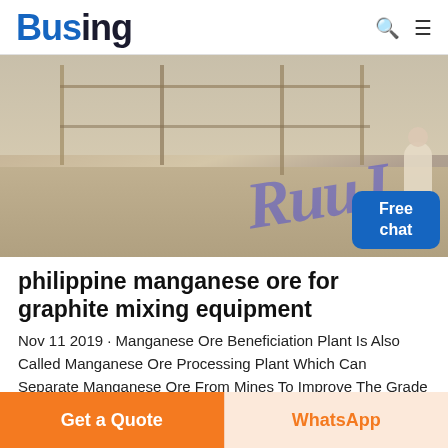Busing
[Figure (photo): Mining site with workers and construction materials, watermark text overlay, and a Free chat button overlay]
philippine manganese ore for graphite mixing equipment
Nov 11 2019 · Manganese Ore Beneficiation Plant Is Also Called Manganese Ore Processing Plant Which Can Separate Manganese Ore From Mines To Improve The Grade Of Manganese Ore The Manganese Ore Beneficiation Plant Is Not A Single Machine Or Several
Get a Quote   WhatsApp